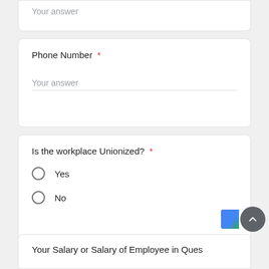Your answer
Phone Number *
Your answer
Is the workplace Unionized? *
Yes
No
Your Salary or Salary of Employee in Ques